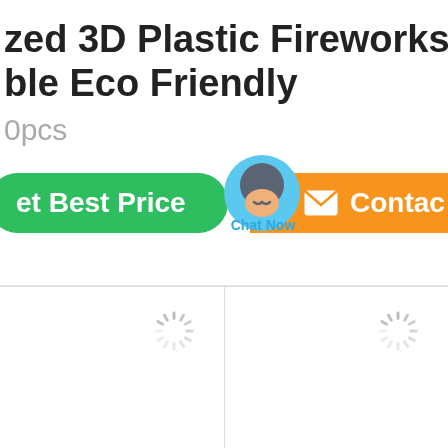ized 3D Plastic Fireworks Glasses ble Eco Friendly
0pcs
[Figure (screenshot): Green 'Get Best Price' button, chat bubble with 'Chat Now' label, and orange 'Contact' button]
[Figure (screenshot): Two image loading placeholders with spinner icons side by side]